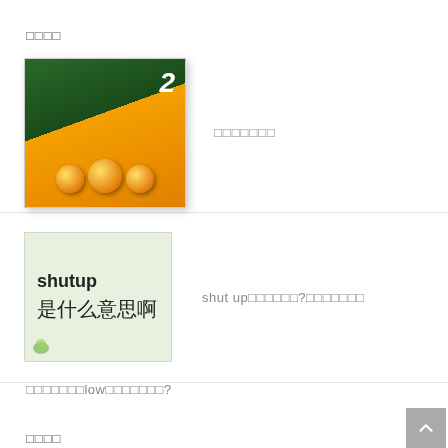□□□□
[Figure (photo): Book cover with orange background, number 2, and yellow spheres]
□□□□□□□
[Figure (photo): Image with text 'shutup 是什么意思啊']
shut up□□□□□□?□□□□□□□
□□□□□□□low□□□□□□□?
□□□□